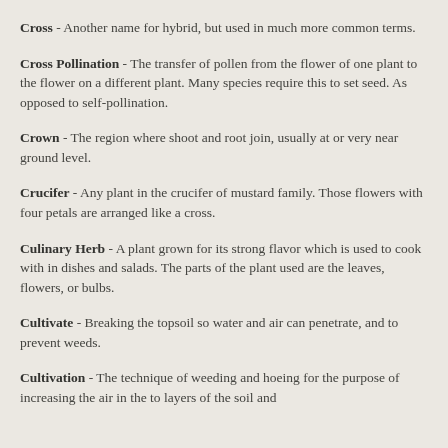Cross - Another name for hybrid, but used in much more common terms.
Cross Pollination - The transfer of pollen from the flower of one plant to the flower on a different plant. Many species require this to set seed. As opposed to self-pollination.
Crown - The region where shoot and root join, usually at or very near ground level.
Crucifer - Any plant in the crucifer of mustard family. Those flowers with four petals are arranged like a cross.
Culinary Herb - A plant grown for its strong flavor which is used to cook with in dishes and salads. The parts of the plant used are the leaves, flowers, or bulbs.
Cultivate - Breaking the topsoil so water and air can penetrate, and to prevent weeds.
Cultivation - The technique of weeding and hoeing for the purpose of increasing the air in the to layers of the soil and…